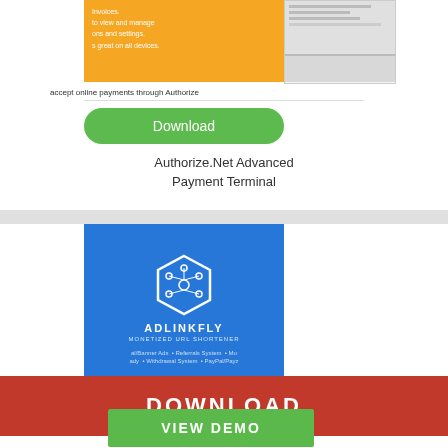[Figure (screenshot): Orange banner with white text about invoices, settings, and device compatibility, with a laptop mockup screenshot on the right side. Green Download button below.]
accept online payments through Authorize
Authorize.Net Advanced Payment Terminal
[Figure (screenshot): Blue AdLinkFly Monetized URL Shortener product image with hexagon network icon, showing features like Banner Ads, Referrals System, Withdrawal System, PayPal/Payza]
al/Banner Ads  • Referrals System  • Mu
ady  • Withdrawal System  • PayPal/Payz
DOWNLOAD
Mo
VIEW DEMO